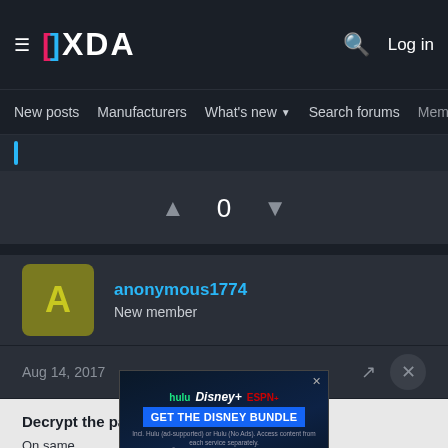XDA  Log in
New posts  Manufacturers  What's new  Search forums  Membe  >
0
anonymous1774
New member
Aug 14, 2017
Decrypt the password
On same... /data/us... encrypted. You will need to use the Samsung password decryption tool.
[Figure (screenshot): Disney Bundle advertisement overlay with Hulu, Disney+, ESPN+ logos and GET THE DISNEY BUNDLE CTA button]